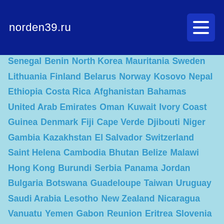norden39.ru
Senegal  Benin  North Korea  Mauritania  Sweden
Lithuania  Finland  Belarus  Norway  Kosovo  Nepal
Ethiopia  Costa Rica  Afghanistan  Bahamas
United Arab Emirates  Oman  Kuwait  Ivory Coast
Guinea  Denmark  Fiji  Cape Verde  Djibouti  Niger
Gambia  Kazakhstan  El Salvador  Switzerland
Saint Helena  Cambodia  Bhutan  Belize  Malawi
Hong Kong  Burundi  Serbia  Panama  Jordan
Bulgaria  Botswana  Guadeloupe  Taiwan  Uruguay
Saudi Arabia  Lesotho  New Zealand  Nicaragua
Vanuatu  Yemen  Gabon  Reunion  Eritrea  Slovenia
Zambia  Western Sahara  Tonga  Chad  Armenia
South Sudan  Cyprus  Croatia  Georgia  Bolivia
Albania  East Timor  Honduras